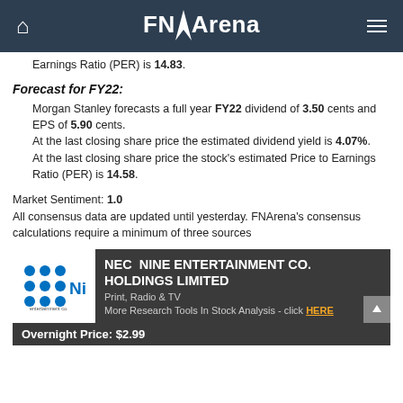FNArena
Earnings Ratio (PER) is 14.83.
Forecast for FY22:
Morgan Stanley forecasts a full year FY22 dividend of 3.50 cents and EPS of 5.90 cents. At the last closing share price the estimated dividend yield is 4.07%. At the last closing share price the stock's estimated Price to Earnings Ratio (PER) is 14.58.
Market Sentiment: 1.0
All consensus data are updated until yesterday. FNArena's consensus calculations require a minimum of three sources
[Figure (logo): Nine Entertainment Co. logo with blue dots and Nine branding on white background]
NEC NINE ENTERTAINMENT CO. HOLDINGS LIMITED
Print, Radio & TV
More Research Tools In Stock Analysis - click HERE
Overnight Price: $2.99